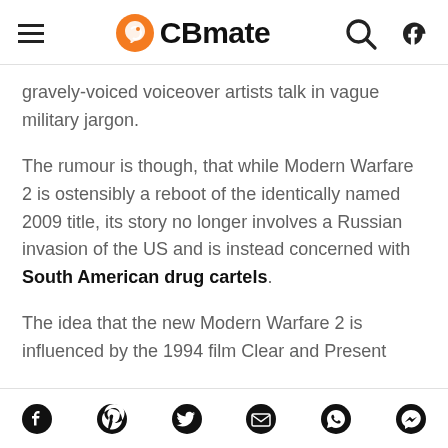CBmate
gravely-voiced voiceover artists talk in vague military jargon.
The rumour is though, that while Modern Warfare 2 is ostensibly a reboot of the identically named 2009 title, its story no longer involves a Russian invasion of the US and is instead concerned with South American drug cartels.
The idea that the new Modern Warfare 2 is influenced by the 1994 film Clear and Present
Social share icons: Facebook, Pinterest, Twitter, Email, WhatsApp, Messenger